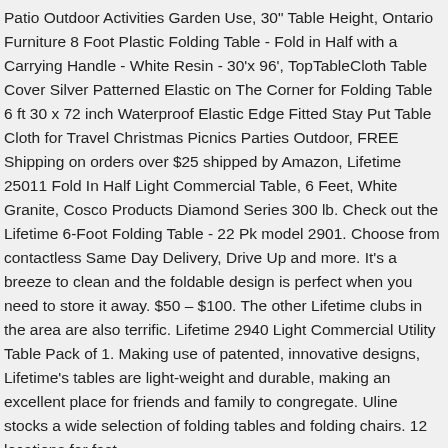Patio Outdoor Activities Garden Use, 30" Table Height, Ontario Furniture 8 Foot Plastic Folding Table - Fold in Half with a Carrying Handle - White Resin - 30'x 96', TopTableCloth Table Cover Silver Patterned Elastic on The Corner for Folding Table 6 ft 30 x 72 inch Waterproof Elastic Edge Fitted Stay Put Table Cloth for Travel Christmas Picnics Parties Outdoor, FREE Shipping on orders over $25 shipped by Amazon, Lifetime 25011 Fold In Half Light Commercial Table, 6 Feet, White Granite, Cosco Products Diamond Series 300 lb. Check out the Lifetime 6-Foot Folding Table - 22 Pk model 2901. Choose from contactless Same Day Delivery, Drive Up and more. It's a breeze to clean and the foldable design is perfect when you need to store it away. $50 – $100. The other Lifetime clubs in the area are also terrific. Lifetime 2940 Light Commercial Utility Table Pack of 1. Making use of patented, innovative designs, Lifetime's tables are light-weight and durable, making an excellent place for friends and family to congregate. Uline stocks a wide selection of folding tables and folding chairs. 12 locations for fast